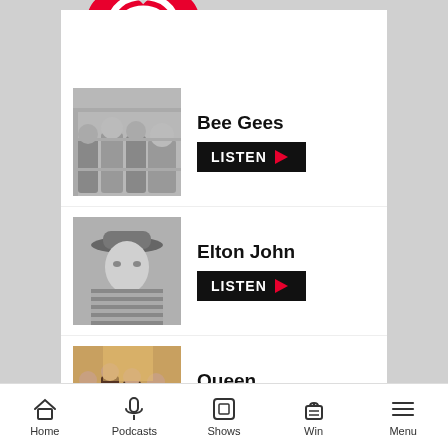[Figure (logo): iHeartRADIO logo on black background]
[Figure (photo): Black and white photo of the Bee Gees]
Bee Gees
LISTEN
[Figure (photo): Black and white photo of Elton John wearing a hat and striped shirt]
Elton John
LISTEN
[Figure (photo): Color photo of Queen band members]
Queen
LISTEN
Listen to iHeartRadio »
LIVE Listen on iHeartRadio
Feel Good
Home  Podcasts  Shows  Win  Menu